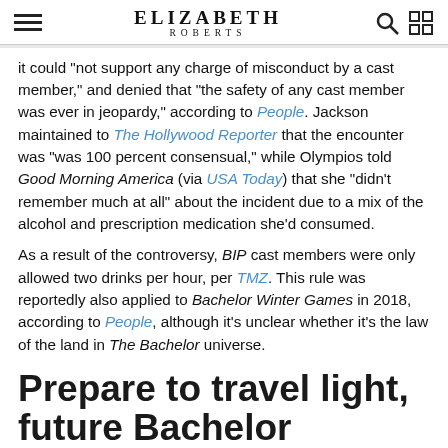ELIZABETH ROBERTS
it could "not support any charge of misconduct by a cast member," and denied that "the safety of any cast member was ever in jeopardy," according to People. Jackson maintained to The Hollywood Reporter that the encounter was "was 100 percent consensual," while Olympios told Good Morning America (via USA Today) that she "didn't remember much at all" about the incident due to a mix of the alcohol and prescription medication she'd consumed.
As a result of the controversy, BIP cast members were only allowed two drinks per hour, per TMZ. This rule was reportedly also applied to Bachelor Winter Games in 2018, according to People, although it's unclear whether it's the law of the land in The Bachelor universe.
Prepare to travel light, future Bachelor